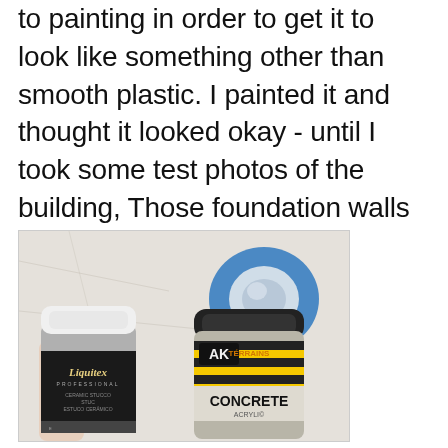to painting in order to get it to look like something other than smooth plastic. I painted it and thought it looked okay - until I took some test photos of the building, Those foundation walls were missing any texture.
[Figure (photo): Photo showing two craft/hobby products on a white surface with blue painter's tape in the background: a Liquitex Professional Ceramic Stucco jar (white lid) on the left, and an AK Terrains Concrete Acrylic jar (black lid, yellow/black striped label) on the right.]